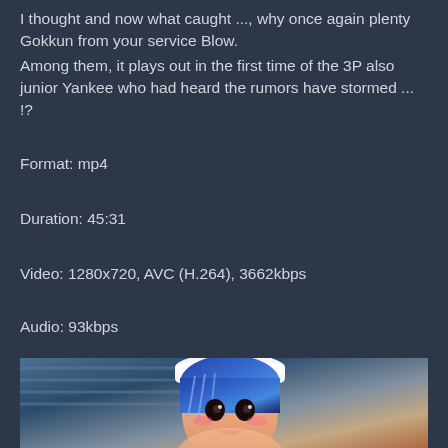I thought and now what caught ..., why once again plenty Gokkun from your service Blow.
Among them, it plays out in the first time of the 3P also junior Yankee who had heard the rumors have stormed ... !?
Format: mp4
Duration: 45:31
Video: 1280x720, AVC (H.264), 3662kbps
Audio: 93kbps
[Figure (illustration): Anime-style 3D CG illustration of a female character with blue hair and white hat]